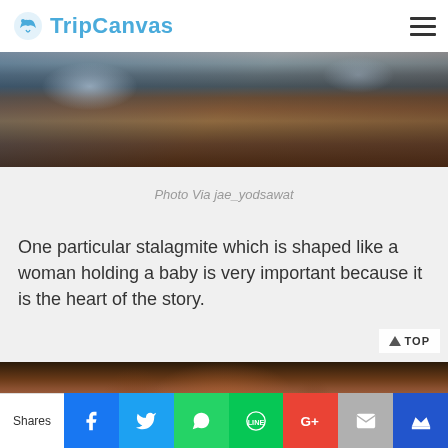TripCanvas
[Figure (photo): Photo of a cave interior with stone formations, a person in a blue shirt visible, and lit blue/teal shrine or structure]
Photo Via jae_yodsawat
One particular stalagmite which is shaped like a woman holding a baby is very important because it is the heart of the story.
[Figure (photo): Photo of cave interior showing dramatic stalagmite formations illuminated with warm orange-red lighting, dark cave ceiling above]